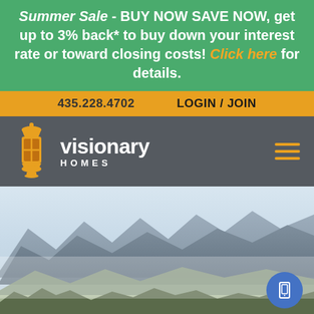Summer Sale - BUY NOW SAVE NOW, get up to 3% back* to buy down your interest rate or toward closing costs! Click here for details.
435.228.4702   LOGIN / JOIN
[Figure (logo): Visionary Homes logo with orange lantern icon and white text on dark gray navbar background]
[Figure (photo): Aerial landscape photo showing mountains, valley, fields, and trees with misty haze]